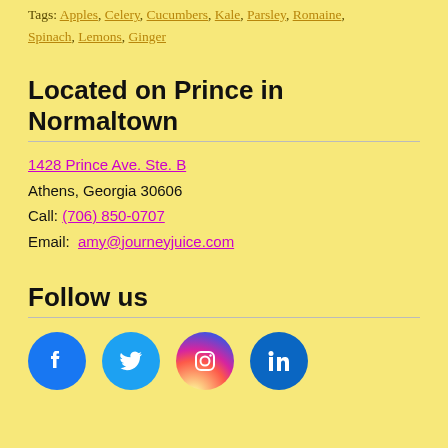Tags: Apples, Celery, Cucumbers, Kale, Parsley, Romaine, Spinach, Lemons, Ginger
Located on Prince in Normaltown
1428 Prince Ave. Ste. B
Athens, Georgia 30606
Call: (706) 850-0707
Email: amy@journeyjuice.com
Follow us
[Figure (other): Social media icons: Facebook, Twitter, Instagram, LinkedIn]